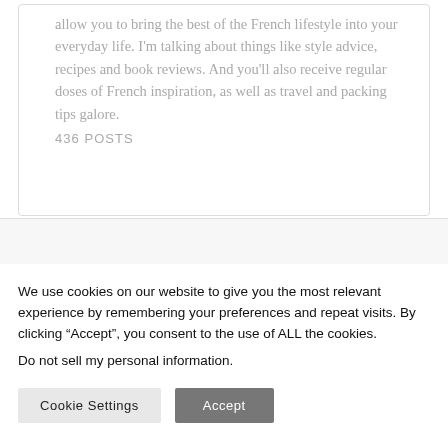allow you to bring the best of the French lifestyle into your everyday life. I'm talking about things like style advice, recipes and book reviews. And you'll also receive regular doses of French inspiration, as well as travel and packing tips galore.
436 POSTS
We use cookies on our website to give you the most relevant experience by remembering your preferences and repeat visits. By clicking “Accept”, you consent to the use of ALL the cookies.
Do not sell my personal information.
Cookie Settings
Accept